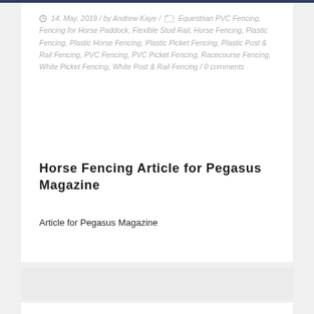14. May. 2019 / by Andrew Kaye / Equestrian PVC Fencing, Fencing for Horse Paddock, Flexible Stud Rail, Horse Fencing, Plastic Fencing, Plastic Horse Fencing, Plastic Picket Fencing, Plastic Post & Rail Fencing, PVC Fencing, PVC Picket Fencing, Racecourse Fencing, White Picket Fencing, White Post & Rail Fencing / 0 comments
Horse Fencing Article for Pegasus Magazine
Article for Pegasus Magazine